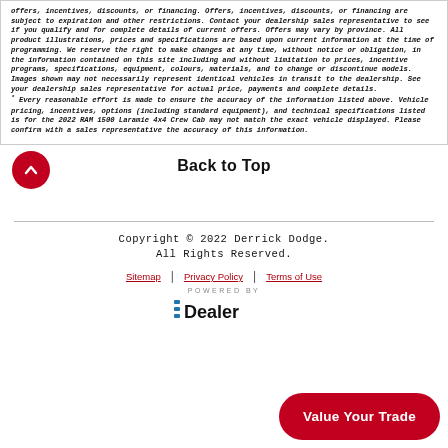offers, incentives, discounts, or financing. Offers, incentives, discounts, or financing are subject to expiration and other restrictions. Contact your dealership sales representative to see if you qualify and for complete details of current offers. Offers may vary by province. All product illustrations, prices and specifications are based upon current information at the time of programming. We reserve the right to make changes at any time, without notice or obligation, in the information contained on this site including and without limitation to prices, incentive programs, specifications, equipment, colours, materials, and to change or discontinue models. Images shown may not necessarily represent identical vehicles in transit to the dealership. See your dealership sales representative for actual price, payments and complete details.
* Every reasonable effort is made to ensure the accuracy of the information listed above. Vehicle pricing, incentives, options (including standard equipment), and technical specifications listed is for the 2022 RAM 1500 Laramie 4x4 Crew Cab may not match the exact vehicle displayed. Please confirm with a sales representative the accuracy of this information.
Back to Top
Copyright © 2022 Derrick Dodge. All Rights Reserved.
Sitemap | Privacy Policy | Terms of Use
[Figure (logo): POWERED BY EDealer logo with blue stripe icon and bold 'Dealer' text]
Value Your Trade